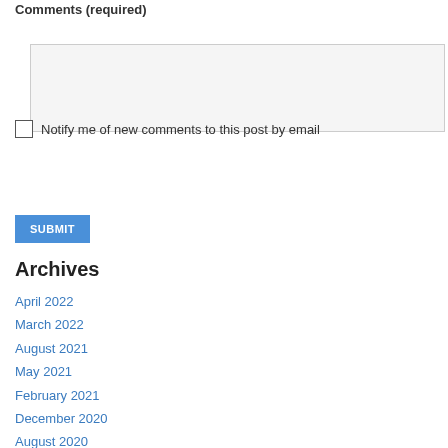Comments (required)
Notify me of new comments to this post by email
SUBMIT
Archives
April 2022
March 2022
August 2021
May 2021
February 2021
December 2020
August 2020